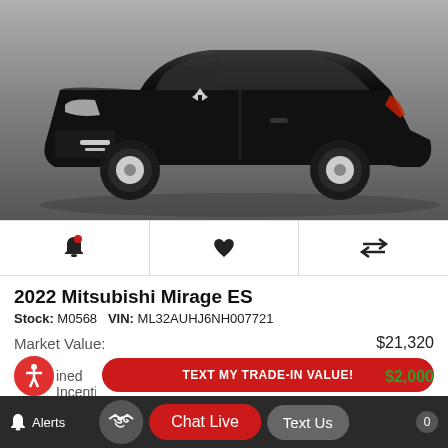[Figure (photo): Black 2022 Mitsubishi Mirage ES compact hatchback, front three-quarter view on white/grey background]
[Figure (infographic): Icon toolbar with bell/alert icon, heart/favorite icon, and compare arrows icon]
2022 Mitsubishi Mirage ES
Stock: M0568   VIN: ML32AUHJ6NH007721
Market Value: $21,320
Combined Incentives: $2,000
Oakes Price: $19,320
[Figure (screenshot): Bottom navigation bar with Alerts, handshake icon, Chat Live button (red), and Text Us button (grey)]